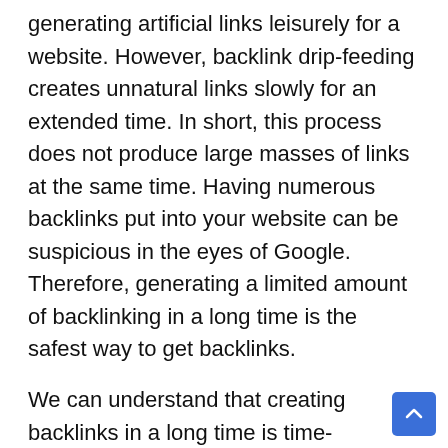generating artificial links leisurely for a website. However, backlink drip-feeding creates unnatural links slowly for an extended time. In short, this process does not produce large masses of links at the same time. Having numerous backlinks put into your website can be suspicious in the eyes of Google. Therefore, generating a limited amount of backlinking in a long time is the safest way to get backlinks.
We can understand that creating backlinks in a long time is time-consuming and requires a lot of patience. But this patience of yours can pay you in colossal advantage. However, there are no specific rules as to how many links must be created.